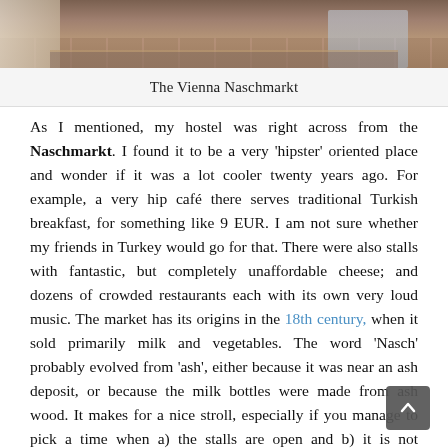[Figure (photo): Partial view of the Vienna Naschmarkt floor/interior, showing tiled flooring and market setting.]
The Vienna Naschmarkt
As I mentioned, my hostel was right across from the Naschmarkt. I found it to be a very ‘hipster’ oriented place and wonder if it was a lot cooler twenty years ago. For example, a very hip café there serves traditional Turkish breakfast, for something like 9 EUR. I am not sure whether my friends in Turkey would go for that. There were also stalls with fantastic, but completely unaffordable cheese; and dozens of crowded restaurants each with its own very loud music. The market has its origins in the 18th century, when it sold primarily milk and vegetables. The word ‘Nasch’ probably evolved from ‘ash’, either because it was near an ash deposit, or because the milk bottles were made from ash wood. It makes for a nice stroll, especially if you manage to pick a time when a) the stalls are open and b) it is not completely crowded. Timing is everything. This is from a solo travel perspective of course. If you are with a group of friends, who all appreciate crowds and loud music, then do